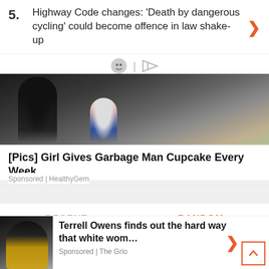5. Highway Code changes: 'Death by dangerous cycling' could become offence in law shake-up
[Figure (photo): Photo of a man and a young girl smiling outdoors]
[Pics] Girl Gives Garbage Man Cupcake Every Week...
Sponsored | HealthyGem
RECENT
RANDOM
Carole Middleton grew up in £4,950 home in Southall – humble origins
[Figure (photo): Photo of Terrell Owens in a gold blazer and sunglasses]
Terrell Owens finds out the hard way that white wom...
Sponsored | The Grio